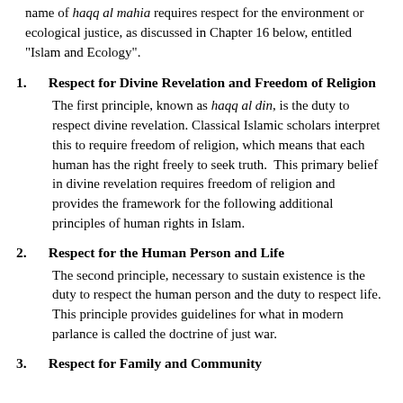name of haqq al mahia requires respect for the environment or ecological justice, as discussed in Chapter 16 below, entitled “Islam and Ecology”.
1. Respect for Divine Revelation and Freedom of Religion
The first principle, known as haqq al din, is the duty to respect divine revelation. Classical Islamic scholars interpret this to require freedom of religion, which means that each human has the right freely to seek truth. This primary belief in divine revelation requires freedom of religion and provides the framework for the following additional principles of human rights in Islam.
2. Respect for the Human Person and Life
The second principle, necessary to sustain existence is the duty to respect the human person and the duty to respect life. This principle provides guidelines for what in modern parlance is called the doctrine of just war.
3. Respect for Family and Community